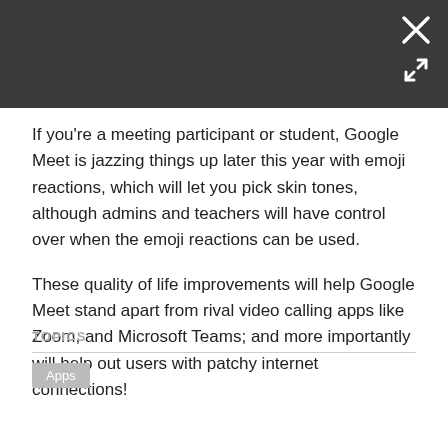[Figure (screenshot): Dark grey top bar with close (X) and expand (arrows) icons in white on the top right]
If you're a meeting participant or student, Google Meet is jazzing things up later this year with emoji reactions, which will let you pick skin tones, although admins and teachers will have control over when the emoji reactions can be used.
These quality of life improvements will help Google Meet stand apart from rival video calling apps like Zoom, and Microsoft Teams; and more importantly will help out users with patchy internet connections!
TOPICS
Apps